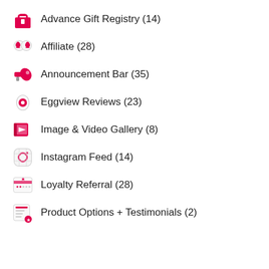Advance Gift Registry (14)
Affiliate (28)
Announcement Bar (35)
Eggview Reviews (23)
Image & Video Gallery (8)
Instagram Feed (14)
Loyalty Referral (28)
Product Options + Testimonials (2)